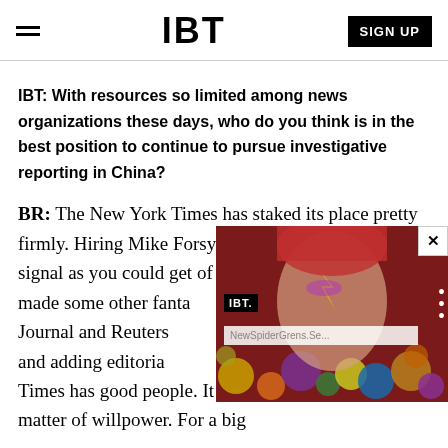IBT  SIGN UP
IBT: With resources so limited among news organizations these days, who do you think is in the best position to continue to pursue investigative reporting in China?
BR: The New York Times has staked its place pretty firmly. Hiring Mike Forsythe was about as clear a signal as you could get of their intent. And they have made some other fanta... Street Journal and Reuters ... stocked and adding editoria... Financial Times has good people. It really just comes down to a matter of willpower. For a big
[Figure (screenshot): Video overlay showing IBT logo and a David Bowie portrait image with colorful circles, with a URL bar reading NewSpiderGrens.Se... and a close button]